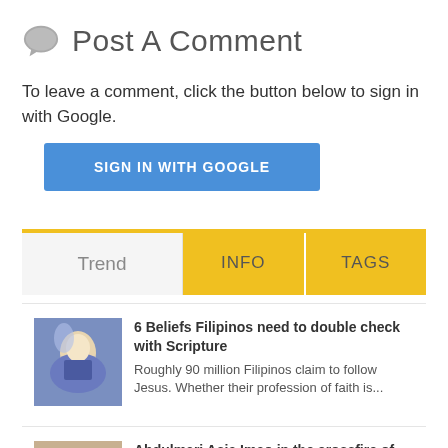Post A Comment
To leave a comment, click the button below to sign in with Google.
SIGN IN WITH GOOGLE
Trend
INFO
TAGS
6 Beliefs Filipinos need to double check with Scripture
Roughly 90 million Filipinos claim to follow Jesus. Whether their profession of faith is...
Abdulmari Asia Imao in the crossfire of ideologies
Photo from Rappler.com The legend of the Sarimanok lives